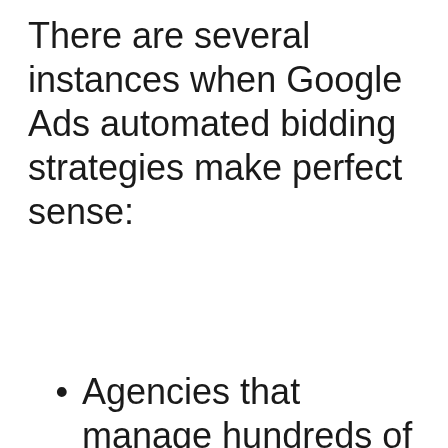There are several instances when Google Ads automated bidding strategies make perfect sense:
Agencies that manage hundreds of campaigns for several clients automatically graduate to using automated bidding strategies and